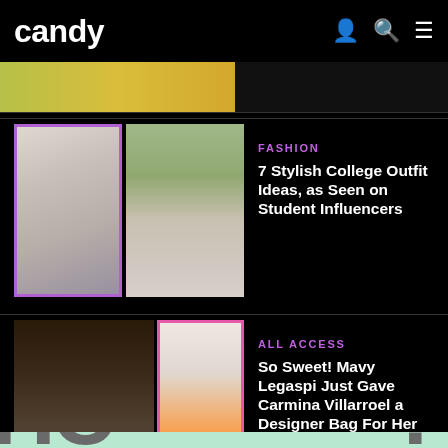candy
[Figure (photo): Partially visible article thumbnail strip at top with yellow/green tones]
FASHION
7 Stylish College Outfit Ideas, as Seen on Student Influencers
[Figure (photo): Two fashion photos: woman in light green outfit seated (left), woman walking in street outfit (right)]
ALL ACCESS
So Sweet! Mavy Legaspi Just Gave Carmina Villarroel a Designer Bag For Her Birthday
[Figure (photo): Two photos: group photo at dinner event (left), couple with orange designer bag and pink bags (right, pink border)]
[Figure (other): Mint/green bottom section with large partially visible letters 'HC' on left and '?' on right]